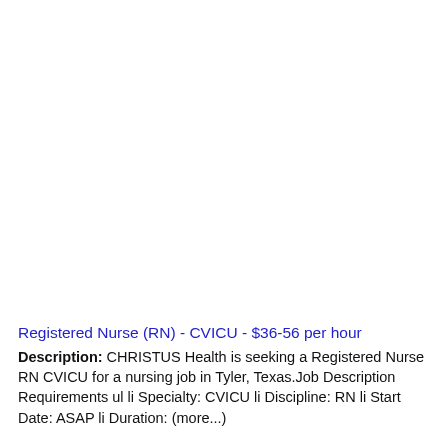Registered Nurse (RN) - CVICU - $36-56 per hour
Description: CHRISTUS Health is seeking a Registered Nurse RN CVICU for a nursing job in Tyler, Texas.Job Description Requirements ul li Specialty: CVICU li Discipline: RN li Start Date: ASAP li Duration: (more...)